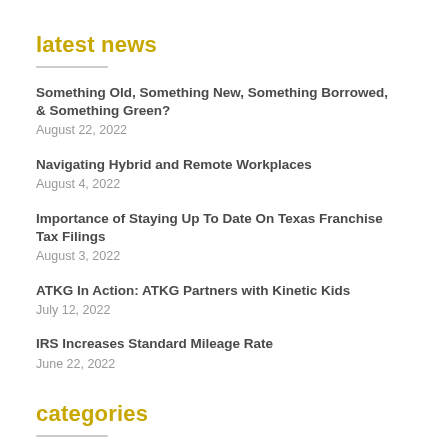latest news
Something Old, Something New, Something Borrowed, & Something Green?
August 22, 2022
Navigating Hybrid and Remote Workplaces
August 4, 2022
Importance of Staying Up To Date On Texas Franchise Tax Filings
August 3, 2022
ATKG In Action: ATKG Partners with Kinetic Kids
July 12, 2022
IRS Increases Standard Mileage Rate
June 22, 2022
categories